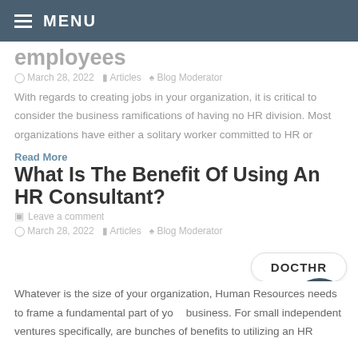MENU
employees
March 28, 2022   Articles   Blog Moderator
With regards to creating jobs in your organization, it is critical to consider the business ramifications of having no HR division. Most organizations have either a solitary worker committed to HR or
Read More
What Is The Benefit Of Using An HR Consultant?
Leave a comment
March 28, 2022   Articles   Blog Moderator
DOCTHR
Whatever is the size of your organization, Human Resources needs to frame a fundamental part of your business. For small independent ventures specifically, are bunches of benefits to utilizing an HR